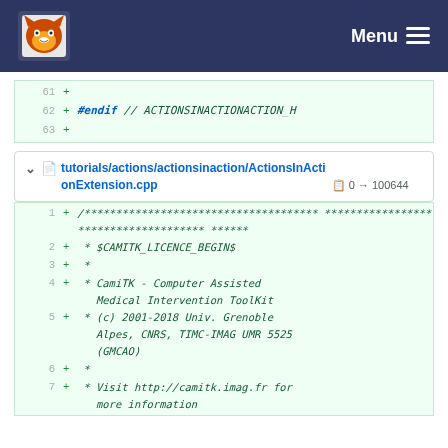[Figure (screenshot): Navigation bar with fox logo and Menu button on dark blue background]
61  +
62  + #endif // ACTIONSINACTIONACTION_H
63  +
tutorials/actions/actionsinaction/ActionsInActionExtension.cpp  0 → 100644
1  + /************************************** ************************************* ******
2  + * $CAMITK_LICENCE_BEGIN$
3  + * *
4  + * CamiTK - Computer Assisted Medical Intervention ToolKit
5  + * (c) 2001-2018 Univ. Grenoble Alpes, CNRS, TIMC-IMAG UMR 5525 (GMCAO)
6  + * *
7  + * Visit http://camitk.imag.fr for more information